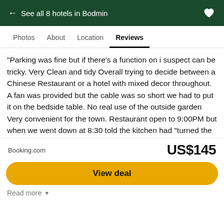← See all 8 hotels in Bodmin
Photos  About  Location  Reviews
“Parking was fine but if there’s a function on i suspect can be tricky. Very Clean and tidy Overall trying to decide between a Chinese Restaurant or a hotel with mixed decor throughout. A fan was provided but the cable was so short we had to put it on the bedside table. No real use of the outside garden Very convenient for the town. Restaurant open to 9:00PM but when we went down at 8:30 told the kitchen had “turned the ovens off and closed” Breakfast told to sit where you want - but not there as that was for X people - so they made you move. Breakfast itself was competent without being splendid. So overall a mixed bag i.e
Read more
Booking.com
US$145
View deal